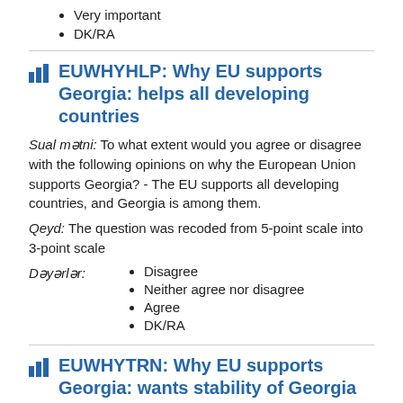Very important
DK/RA
EUWHYHLP: Why EU supports Georgia: helps all developing countries
Sual mətni: To what extent would you agree or disagree with the following opinions on why the European Union supports Georgia? - The EU supports all developing countries, and Georgia is among them.
Qeyd: The question was recoded from 5-point scale into 3-point scale
Dəyərlər:
Disagree
Neither agree nor disagree
Agree
DK/RA
EUWHYTRN: Why EU supports Georgia: wants stability of Georgia to transport oil and gas
Sual mətni: To what extent would you agree or disagree with the following opinions on why the European Union supports Georgia?